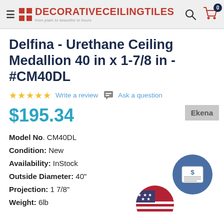DecorativeCeilingTiles — from plain to beautiful in hours
Delfina - Urethane Ceiling Medallion 40 in x 1-7/8 in - #CM40DL
Write a review  Ask a question
$195.34
Model No. CM40DL
Condition: New
Availability: InStock
Outside Diameter: 40"
Projection: 1 7/8"
Weight: 6lb